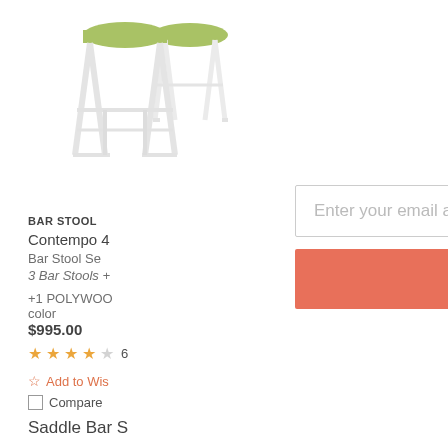[Figure (photo): White bar stools with green seats, multiple stools shown]
BAR STOOL
Contempo 4
Bar Stool Se
3 Bar Stools +
+1 POLYWOO color
$995.00
★★★★☆ 6
☆ Add to Wis
Compare
Every month, we're giving away a FREE C Adirondack Chair valued at $199+ to one email subscribers. (Hey, that could be yo
Enter your email address
SIGN ME UP!
One (1) winner will be selected at random at the end of month and contacted by email. U.S. entrants only
Saddle Bar S